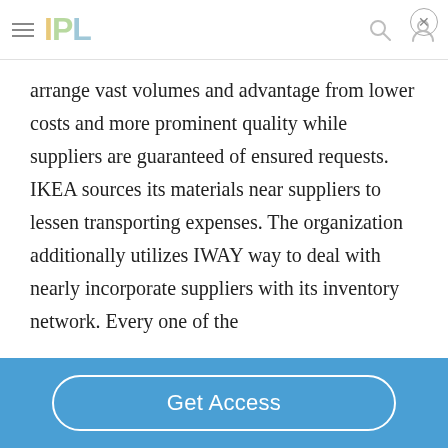IPL
arrange vast volumes and advantage from lower costs and more prominent quality while suppliers are guaranteed of ensured requests. IKEA sources its materials near suppliers to lessen transporting expenses. The organization additionally utilizes IWAY way to deal with nearly incorporate suppliers with its inventory network. Every one of the
Get Access